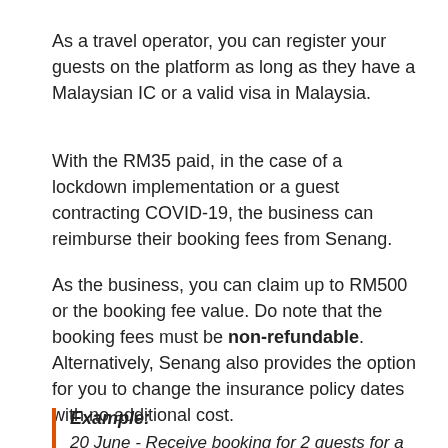As a travel operator, you can register your guests on the platform as long as they have a Malaysian IC or a valid visa in Malaysia.
With the RM35 paid, in the case of a lockdown implementation or a guest contracting COVID-19, the business can reimburse their booking fees from Senang.
As the business, you can claim up to RM500 or the booking fee value. Do note that the booking fees must be non-refundable. Alternatively, Senang also provides the option for you to change the insurance policy dates with no additional cost.
Example: 20 June - Receive booking for 2 guests for a